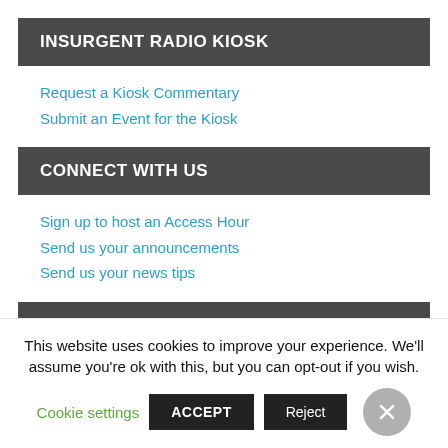INSURGENT RADIO KIOSK
Request a Kiosk Commentary
Submit an Event for the Kiosk
CONNECT WITH US
Sign up to host an Access Hour
Send us your announcements
Send us your news tips
CURRENT WEATHER
This website uses cookies to improve your experience. We'll assume you're ok with this, but you can opt-out if you wish.
Cookie settings  ACCEPT  Reject